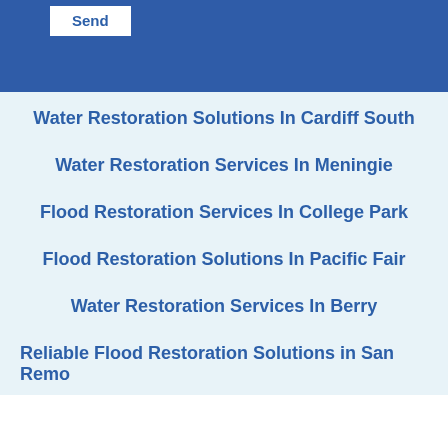Send
Water Restoration Solutions In Cardiff South
Water Restoration Services In Meningie
Flood Restoration Services In College Park
Flood Restoration Solutions In Pacific Fair
Water Restoration Services In Berry
Reliable Flood Restoration Solutions in San Remo